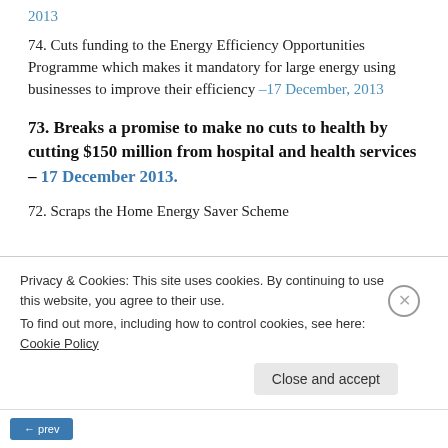2013
74. Cuts funding to the Energy Efficiency Opportunities Programme which makes it mandatory for large energy using businesses to improve their efficiency –17 December, 2013
73. Breaks a promise to make no cuts to health by cutting $150 million from hospital and health services – 17 December 2013.
72. Scraps the Home Energy Saver Scheme
Privacy & Cookies: This site uses cookies. By continuing to use this website, you agree to their use. To find out more, including how to control cookies, see here: Cookie Policy
Close and accept